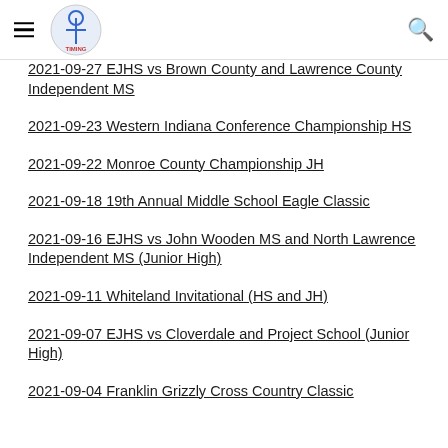Navigation header with hamburger menu, logo, and search icon
2021-09-27 EJHS vs Brown County and Lawrence County Independent MS
2021-09-23 Western Indiana Conference Championship HS
2021-09-22 Monroe County Championship JH
2021-09-18 19th Annual Middle School Eagle Classic
2021-09-16 EJHS vs John Wooden MS and North Lawrence Independent MS (Junior High)
2021-09-11 Whiteland Invitational (HS and JH)
2021-09-07 EJHS vs Cloverdale and Project School (Junior High)
2021-09-04 Franklin Grizzly Cross Country Classic